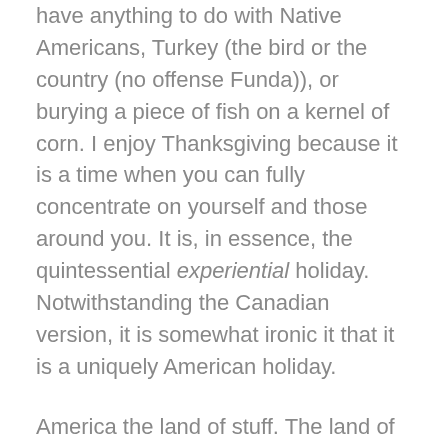have anything to do with Native Americans, Turkey (the bird or the country (no offense Funda)), or burying a piece of fish on a kernel of corn. I enjoy Thanksgiving because it is a time when you can fully concentrate on yourself and those around you. It is, in essence, the quintessential experiential holiday. Notwithstanding the Canadian version, it is somewhat ironic it that it is a uniquely American holiday.
America the land of stuff. The land of things and status. The latest gadget. The newest game. The latest fashion. Ugg boots.
Amidst this maelstrom of materialism sits this 24-hour period of reflection and introspection in the eye of the storm between candy and stuff. Hats off to retailers who restrain from tempting customers and allowing their employees a day of